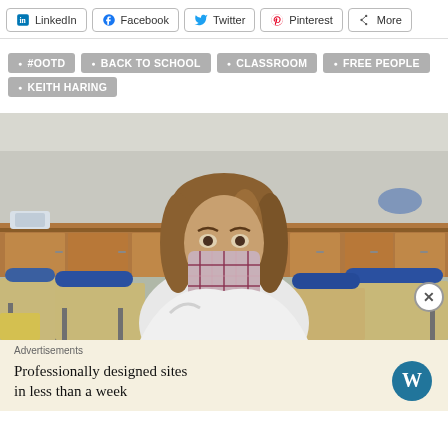LinkedIn  Facebook  Twitter  Pinterest  More
#OOTD
BACK TO SCHOOL
CLASSROOM
FREE PEOPLE
KEITH HARING
[Figure (photo): A woman wearing a plaid face mask sitting in an empty classroom with blue student chairs and wooden cabinets in the background.]
Advertisements
Professionally designed sites in less than a week